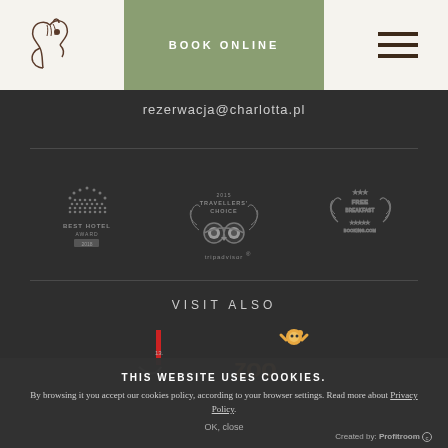[Figure (logo): Horse logo (Charlotta hotel logo) top left]
BOOK ONLINE
[Figure (illustration): Hamburger menu icon (three horizontal lines) top right]
rezerwacja@charlotta.pl
[Figure (logo): Best Hotel Award badge]
[Figure (logo): TripAdvisor Travellers Choice 2015 badge]
[Figure (logo): Free Breakfast award badge]
VISIT ALSO
[Figure (logo): Legend bar/club logo]
[Figure (logo): Zoo logo with animal cartoon]
THIS WEBSITE USES COOKIES.
By browsing it you accept our cookies policy, according to your browser settings. Read more about Privacy Policy.
OK, close
Created by: Profitroom